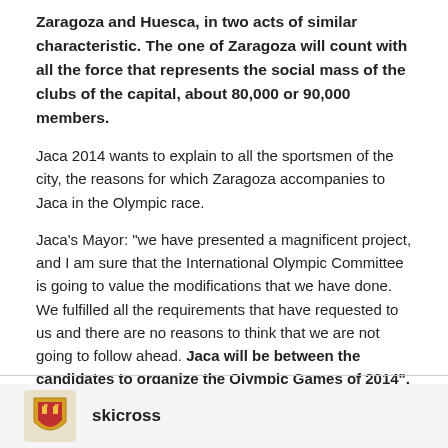Zaragoza and Huesca, in two acts of similar characteristic. The one of Zaragoza will count with all the force that represents the social mass of the clubs of the capital, about 80,000 or 90,000 members.
Jaca 2014 wants to explain to all the sportsmen of the city, the reasons for which Zaragoza accompanies to Jaca in the Olympic race.
Jaca's Mayor: "we have presented a magnificent project, and I am sure that the International Olympic Committee is going to value the modifications that we have done.  We fulfilled all the requirements that have requested to us and there are no reasons to think that we are not going to follow ahead. Jaca will be between the candidates to organize the Olympic Games of 2014".
Sorry for my (Google) translation, I guess that the news will be available in English at the website soon.
skicross